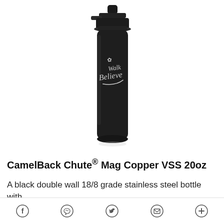[Figure (photo): A black CamelBack Chute Mag water bottle with a chute lid cap, matte black finish, with 'BelieveWalk' script text and a flower logo engraved on the side in white/silver.]
CamelBack Chute® Mag Copper VSS 20oz
A black double wall 18/8 grade stainless steel bottle with...